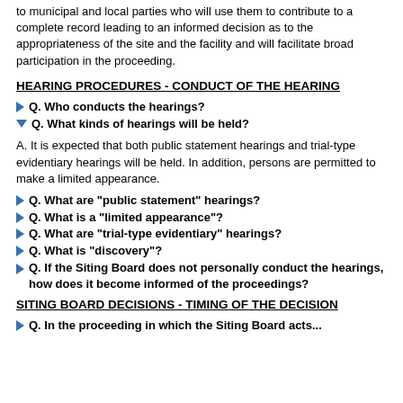to municipal and local parties who will use them to contribute to a complete record leading to an informed decision as to the appropriateness of the site and the facility and will facilitate broad participation in the proceeding.
HEARING PROCEDURES - CONDUCT OF THE HEARING
Q. Who conducts the hearings?
Q. What kinds of hearings will be held?
A. It is expected that both public statement hearings and trial-type evidentiary hearings will be held. In addition, persons are permitted to make a limited appearance.
Q. What are "public statement" hearings?
Q. What is a "limited appearance"?
Q. What are "trial-type evidentiary" hearings?
Q. What is "discovery"?
Q. If the Siting Board does not personally conduct the hearings, how does it become informed of the proceedings?
SITING BOARD DECISIONS - TIMING OF THE DECISION
Q. In the proceeding in which the Siting Board acts...